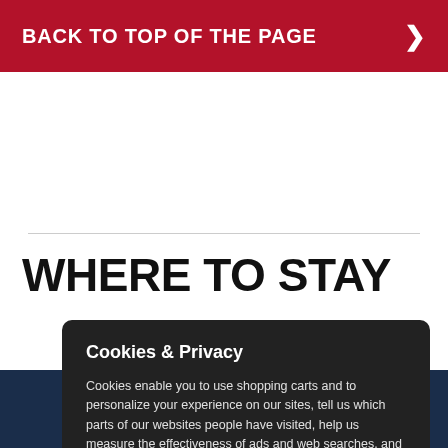BACK TO TOP OF THE PAGE
WHERE TO STAY
Cookies & Privacy
Cookies enable you to use shopping carts and to personalize your experience on our sites, tell us which parts of our websites people have visited, help us measure the effectiveness of ads and web searches, and give us insights into user behavior so we can improve our communications and products. More information
Accept Cookies...